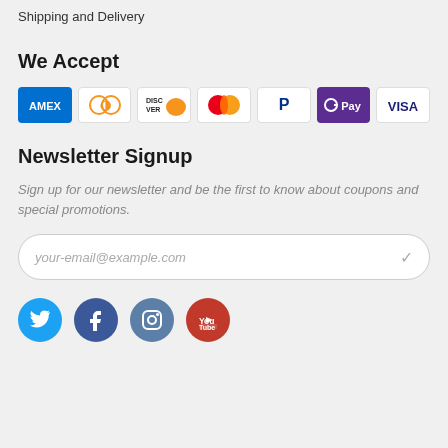Shipping and Delivery
We Accept
[Figure (infographic): Payment method icons: AMEX, Diners Club, Discover, Mastercard, PayPal, G Pay, VISA]
Newsletter Signup
Sign up for our newsletter and be the first to know about coupons and special promotions.
your-email@example.com
[Figure (infographic): Social media icons: Twitter, Facebook, Instagram, YouTube]